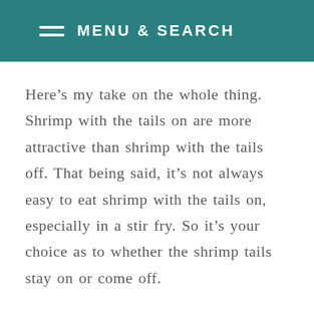MENU & SEARCH
Here’s my take on the whole thing. Shrimp with the tails on are more attractive than shrimp with the tails off. That being said, it’s not always easy to eat shrimp with the tails on, especially in a stir fry. So it’s your choice as to whether the shrimp tails stay on or come off.